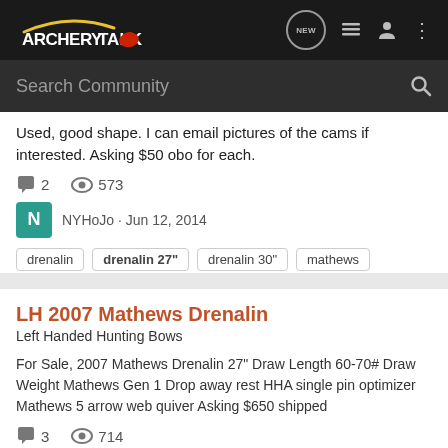ArcheryTalk — navigation bar with logo and icons
Used, good shape. I can email pictures of the cams if interested. Asking $50 obo for each.
2 comments, 573 views
NYHoJo · Jun 12, 2014
drenalin
drenalin 27"
drenalin 30"
mathews
LH 2007 Mathews Drenalin
Left Handed Hunting Bows
For Sale, 2007 Mathews Drenalin 27" Draw Length 60-70# Draw Weight Mathews Gen 1 Drop away rest HHA single pin optimizer Mathews 5 arrow web quiver Asking $650 shipped
3 comments, 714 views
billygoat · Feb 15, 2012